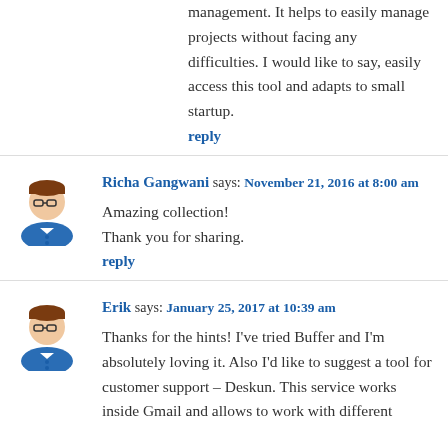management. It helps to easily manage projects without facing any difficulties. I would like to say, easily access this tool and adapts to small startup.
reply
Richa Gangwani says: November 21, 2016 at 8:00 am
Amazing collection!
Thank you for sharing.
reply
Erik says: January 25, 2017 at 10:39 am
Thanks for the hints! I've tried Buffer and I'm absolutely loving it. Also I'd like to suggest a tool for customer support – Deskun. This service works inside Gmail and allows to work with different